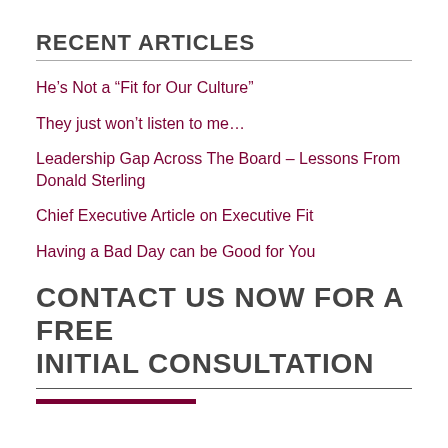RECENT ARTICLES
He’s Not a “Fit for Our Culture”
They just won’t listen to me…
Leadership Gap Across The Board – Lessons From Donald Sterling
Chief Executive Article on Executive Fit
Having a Bad Day can be Good for You
CONTACT US NOW FOR A FREE INITIAL CONSULTATION